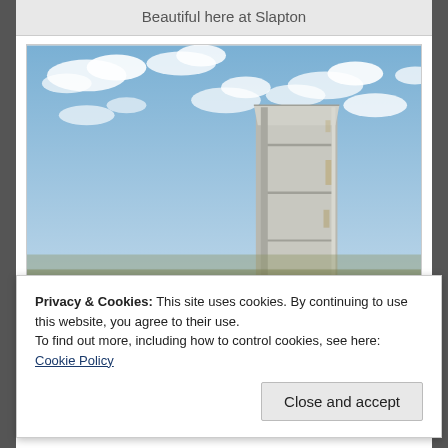Beautiful here at Slapton
[Figure (photo): A tall granite stone monument or obelisk photographed from below against a blue sky with scattered white clouds. The stone pillar has a rough, granular texture with horizontal seam lines where blocks meet, and tapers slightly toward the top.]
Privacy & Cookies: This site uses cookies. By continuing to use this website, you agree to their use.
To find out more, including how to control cookies, see here: Cookie Policy
Close and accept